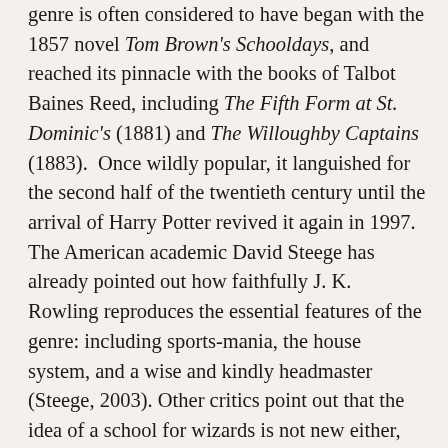genre is often considered to have began with the 1857 novel Tom Brown's Schooldays, and reached its pinnacle with the books of Talbot Baines Reed, including The Fifth Form at St. Dominic's (1881) and The Willoughby Captains (1883).  Once wildly popular, it languished for the second half of the twentieth century until the arrival of Harry Potter revived it again in 1997. The American academic David Steege has already pointed out how faithfully J. K. Rowling reproduces the essential features of the genre: including sports-mania, the house system, and a wise and kindly headmaster (Steege, 2003). Other critics point out that the idea of a school for wizards is not new either, appearing for example in American author Ursula K. LeGuin's A Wizard of Earthsea (1968). So what is it about the school story, which critics have often dismissed as formulaic, that lends itself so well to fantasy? I think that this transition is so easy because the boarding schools portrayed by Reed and others are already imagined worlds that authors, characters and readers all take a hand in creating.